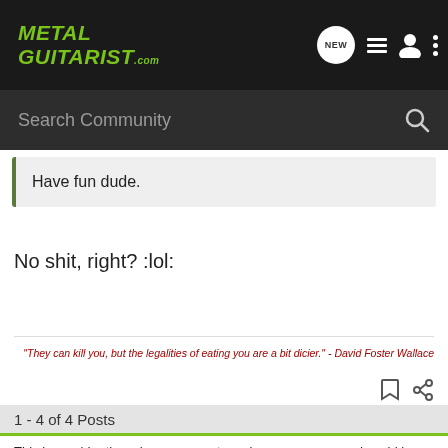METAL GUITARIST.com
Search Community
Have fun dude.
No shit, right? :lol:
"They can kill you, but the legalities of eating you are a bit dicier." - David Foster Wallace
1 - 4 of 4 Posts
This is an older thread, you may not receive a response, and could be reviving an old thread. Please consider creating a new thread.